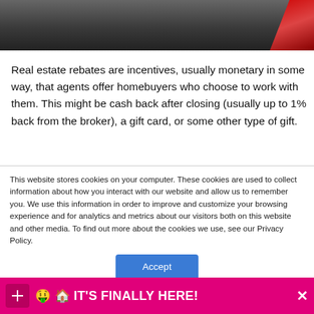[Figure (photo): Dark photo strip, partially visible at top of page, showing indistinct dark tones with a reddish element at top right]
Real estate rebates are incentives, usually monetary in some way, that agents offer homebuyers who choose to work with them. This might be cash back after closing (usually up to 1% back from the broker), a gift card, or some other type of gift.
This website stores cookies on your computer. These cookies are used to collect information about how you interact with our website and allow us to remember you. We use this information in order to improve and customize your browsing experience and for analytics and metrics about our visitors both on this website and other media. To find out more about the cookies we use, see our Privacy Policy.
Accept
🤑 🏠 IT'S FINALLY HERE!